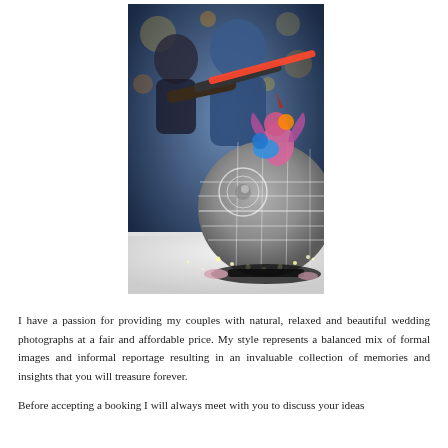[Figure (photo): A wedding photo showing two people (a man in a suit and a woman in blue) enthusiastically pointing a red toy lightsaber or toy gun at a Death Star-shaped wedding cake topped with colorful fantasy creature figurines. The spherical cake is detailed with panel lines like the Death Star from Star Wars and has small lights around its equator. The scene appears to be at a wedding reception.]
I have a passion for providing my couples with natural, relaxed and beautiful wedding photographs at a fair and affordable price.  My style represents a balanced mix of formal images and informal reportage resulting in an invaluable collection of memories and insights that you will treasure forever.
Before accepting a booking I will always meet with you to discuss your ideas and expectations, the hope is that these skills can create a fitting...